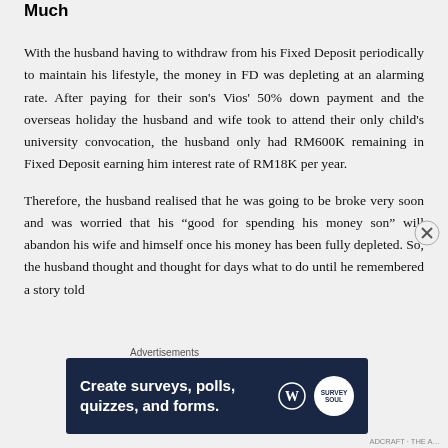Much
With the husband having to withdraw from his Fixed Deposit periodically to maintain his lifestyle, the money in FD was depleting at an alarming rate. After paying for their son's Vios' 50% down payment and the overseas holiday the husband and wife took to attend their only child's university convocation, the husband only had RM600K remaining in Fixed Deposit earning him interest rate of RM18K per year.
Therefore, the husband realised that he was going to be broke very soon and was worried that his “good for spending his money son” will abandon his wife and himself once his money has been fully depleted. So, the husband thought and thought for days what to do until he remembered a story told
[Figure (other): Advertisement banner: dark navy blue background with text 'Create surveys, polls, quizzes, and forms.' with WordPress logo and a circular survey badge icon]